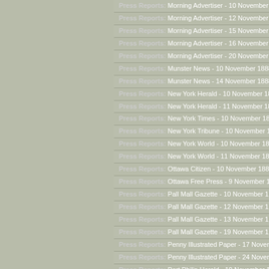Press Reports: Morning Advertiser - 10 November 1888
Press Reports: Morning Advertiser - 12 November 1888
Press Reports: Morning Advertiser - 15 November 1888
Press Reports: Morning Advertiser - 16 November 1888
Press Reports: Morning Advertiser - 20 November 1888
Press Reports: Munster News - 10 November 1888
Press Reports: Munster News - 14 November 1888
Press Reports: New York Herald - 10 November 1888
Press Reports: New York Herald - 11 November 1888
Press Reports: New York Times - 10 November 1888
Press Reports: New York Tribune - 10 November 1888
Press Reports: New York World - 10 November 1888
Press Reports: New York World - 11 November 1888
Press Reports: Ottawa Citizen - 10 November 1888
Press Reports: Ottawa Free Press - 9 November 1888
Press Reports: Pall Mall Gazette - 10 November 1888
Press Reports: Pall Mall Gazette - 12 November 1888
Press Reports: Pall Mall Gazette - 13 November 1888
Press Reports: Pall Mall Gazette - 19 November 1888
Press Reports: Penny Illustrated Paper - 17 November 1888
Press Reports: Penny Illustrated Paper - 24 November 1888
Press Reports: Port Philip Herald - 10 November 1888
Press Reports: St. James Gazette - 10 November 1888
Press Reports: St. James Gazette - 13 November 1888
Press Reports: Star - 10 November 1888
Press Reports: Star - 12 November 1888
Press Reports: Star - 13 November 1888
Press Reports: Star - 19 November 1888
Press Reports: Star - 9 November 1888
Press Reports: Syracuse Herald - 11 November 1888
Press Reports: Thanet Advertiser - 17 November 1888
Press Reports: Times [London] - 10 November 1888
Press Reports: Times [London] - 12 November 1888